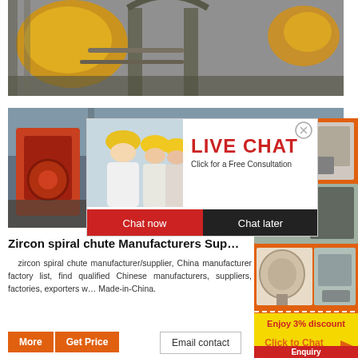[Figure (photo): Industrial factory interior with large yellow machinery and metal structure columns]
[Figure (photo): Second factory/industrial scene with orange machinery and live chat popup overlay showing workers with hard hats, LIVE CHAT headline, Chat now and Chat later buttons]
[Figure (photo): Right sidebar with orange background showing industrial equipment images, Enjoy 3% discount, Click to Chat text, and Enquiry button]
Zircon spiral chute Manufacturers Sup…
zircon spiral chute manufacturer/supplier, China manufacturer factory list, find qualified Chinese manufacturers, suppliers, factories, exporters w… Made-in-China.
More  Get Price
Email contact